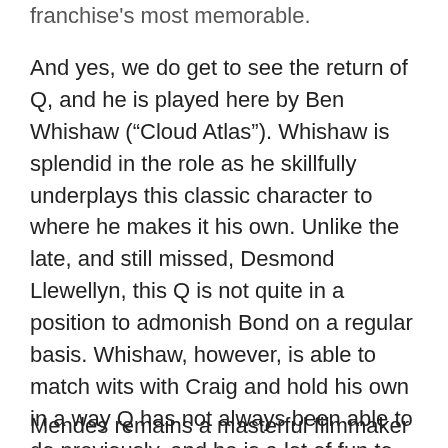franchise's most memorable.
And yes, we do get to see the return of Q, and he is played here by Ben Whishaw (“Cloud Atlas”). Whishaw is splendid in the role as he skillfully underplays this classic character to where he makes it his own. Unlike the late, and still missed, Desmond Llewellyn, this Q is not quite in a position to admonish Bond on a regular basis. Whishaw, however, is able to match wits with Craig and hold his own in a way Q has not always been able to do previously, and he is a lot of fun to watch as a result.
Mendes remains a masterful filmmaker as he